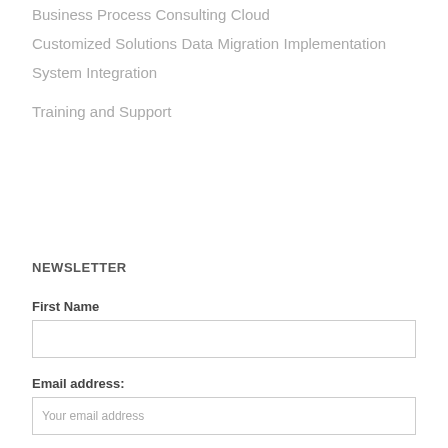Business Process Consulting
Cloud
Customized Solutions
Data Migration
Implementation
System Integration
Training and Support
NEWSLETTER
First Name
Email address: